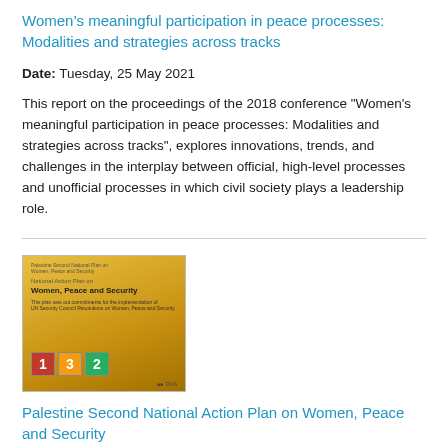Women’s meaningful participation in peace processes: Modalities and strategies across tracks
Date: Tuesday, 25 May 2021
This report on the proceedings of the 2018 conference “Women’s meaningful participation in peace processes: Modalities and strategies across tracks”, explores innovations, trends, and challenges in the interplay between official, high-level processes and unofficial processes in which civil society plays a leadership role.
[Figure (photo): Book cover for Palestine Second National Action Plan on Women, Peace and Security. Yellow/gold cover with Arabic and English text, showing numbers 1, 3, 2 in colored boxes at the bottom.]
Palestine Second National Action Plan on Women, Peace and Security
Date: Tuesday, 6 April 2021
Palestine’s Second National Action Plan for the implementation of